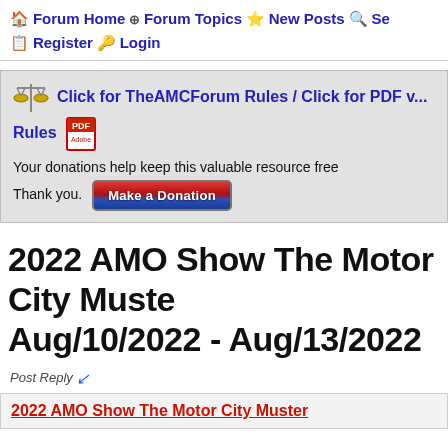🏠 Forum Home ⊕ Forum Topics ⭐ New Posts 🔍 Se... 📋 Register 🔑 Login
Click for TheAMCForum Rules / Click for PDF v... Rules  [PDF icon]  Your donations help keep this valuable resource free... Thank you. [Make a Donation button]
2022 AMO Show The Motor City Muste... Aug/10/2022 - Aug/13/2022
Post Reply 🔽
2022 AMO Show The Motor City Muster